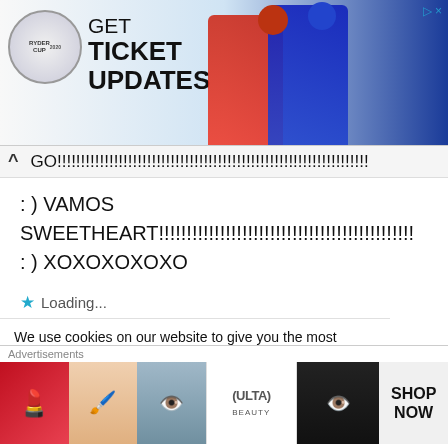[Figure (screenshot): Ryder Cup advertisement banner with logo, 'GET TICKET UPDATES' text, and two golf players in red and blue uniforms]
GO!!!!!!!!!!!!!!!!!!!!!!!!!!!!!!!!!!!!!!!!!!!!!!!!!!!!!!!!!!!!!!!!!!!!!!!!
: ) VAMOS
SWEETHEART!!!!!!!!!!!!!!!!!!!!!!!!!!!!!!!!!!!!!!!!!!!!!!!!!!!!!!!!!!!!!!!!
: ) XOXOXOXOXO
Loading...
We use cookies on our website to give you the most relevant experience by remembering your preferences and repeat visits. By clicking “Accept”, you consent to the use of ALL the cookies.
Do not sell my personal information
[Figure (screenshot): Advertisements banner with Ulta Beauty ad showing makeup imagery (lips, brush, eye), Ulta logo, eye makeup, and SHOP NOW text]